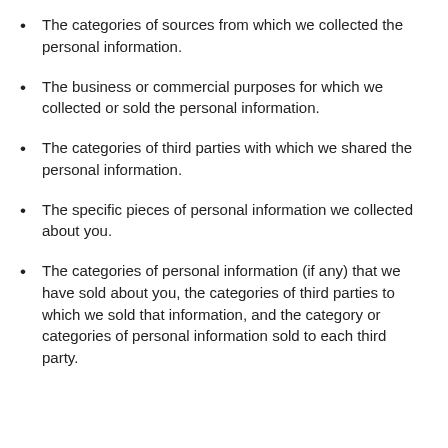The categories of sources from which we collected the personal information.
The business or commercial purposes for which we collected or sold the personal information.
The categories of third parties with which we shared the personal information.
The specific pieces of personal information we collected about you.
The categories of personal information (if any) that we have sold about you, the categories of third parties to which we sold that information, and the category or categories of personal information sold to each third party.